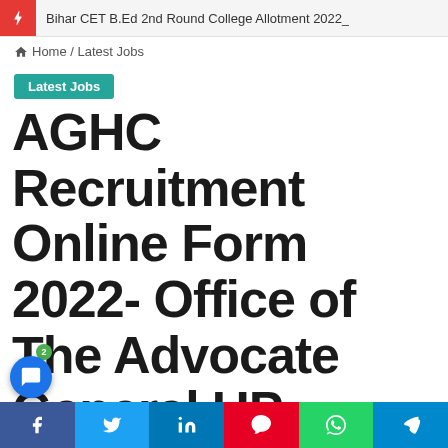Bihar CET B.Ed 2nd Round College Allotment 2022_
Home / Latest Jobs
Latest Jobs
AGHC Recruitment Online Form 2022- Office of The Advocate General UP